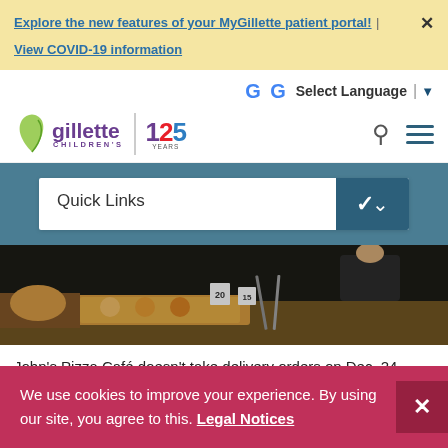Explore the new features of your MyGillette patient portal! | View COVID-19 information
[Figure (logo): Gillette Children's logo with 125 years anniversary badge, Google Translate language selector, search icon, and hamburger menu]
[Figure (screenshot): Quick Links dropdown bar on teal background]
[Figure (photo): Photo of pizza buffet food scene with numbered trays]
John's Pizza Café doesn't take delivery orders on Dec. 24, another concession to the holiday. The money comes from its walk-in
We use cookies to improve your experience. By using our site, you agree to this. Legal Notices